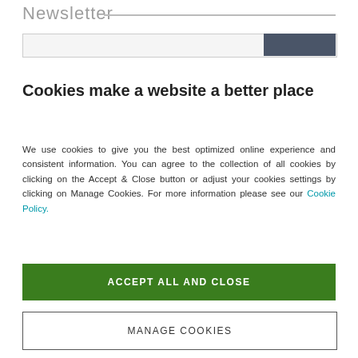Newsletter
Cookies make a website a better place
We use cookies to give you the best optimized online experience and consistent information. You can agree to the collection of all cookies by clicking on the Accept & Close button or adjust your cookies settings by clicking on Manage Cookies. For more information please see our Cookie Policy.
ACCEPT ALL AND CLOSE
MANAGE COOKIES